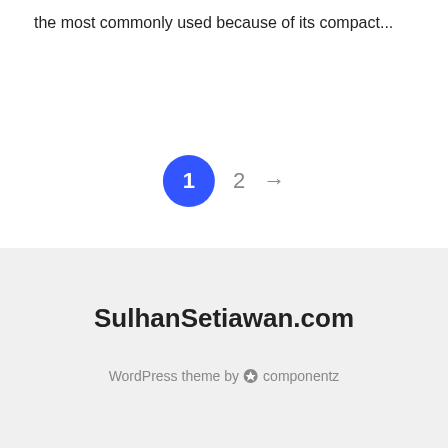the most commonly used because of its compact...
[Figure (other): Pagination navigation showing page 1 (active, blue circle), page 2, and a right arrow]
SulhanSetiawan.com
WordPress theme by ⚡ componentz